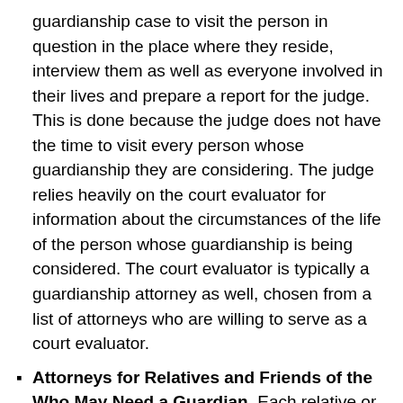guardianship case to visit the person in question in the place where they reside, interview them as well as everyone involved in their lives and prepare a report for the judge. This is done because the judge does not have the time to visit every person whose guardianship they are considering. The judge relies heavily on the court evaluator for information about the circumstances of the life of the person whose guardianship is being considered. The court evaluator is typically a guardianship attorney as well, chosen from a list of attorneys who are willing to serve as a court evaluator.
Attorneys for Relatives and Friends of the Who May Need a Guardian. Each relative or a friend can be represented by their own